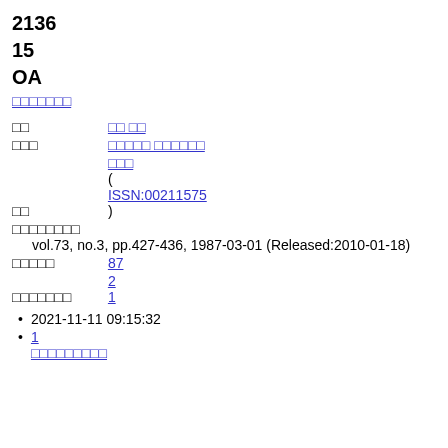2136
15
OA
[link: CJK characters]
著者 [field label]
[linked CJK author name]
収録刊行物 [field label]
[linked CJK journal name]
出版者 [field label]
[linked CJK publisher] ( ISSN:00211575 )
掲載情報 vol.73, no.3, pp.427-436, 1987-03-01 (Released:2010-01-18)
参考文献 87
被引用文献 2
1
2021-11-11 09:15:32
1
[CJK link text]